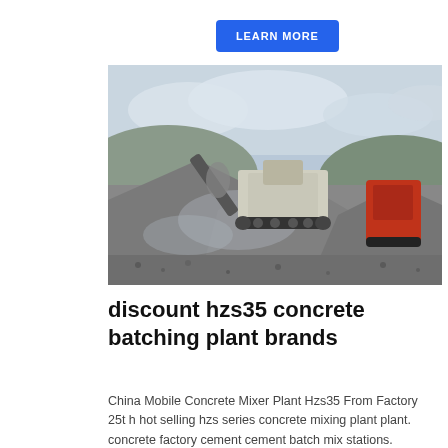LEARN MORE
[Figure (photo): Industrial concrete batching / aggregate processing machinery on a work site with large piles of crushed stone/gravel and dust clouds. A tracked crusher or conveyor machine is visible in the center, with a red machine on the right side.]
discount hzs35 concrete batching plant brands
China Mobile Concrete Mixer Plant Hzs35 From Factory 25t h hot selling hzs series concrete mixing plant plant. concrete factory cement cement batch mix stations.